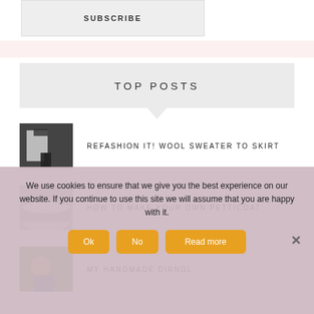SUBSCRIBE
TOP POSTS
REFASHION IT! WOOL SWEATER TO SKIRT
HOW TO MAKE YOUR OWN PETTICOAT
MY HANDMADE DIRNDL
We use cookies to ensure that we give you the best experience on our website. If you continue to use this site we will assume that you are happy with it.